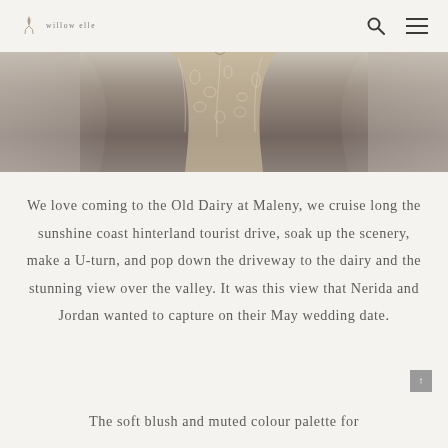willow.elle [logo with search and menu icons]
[Figure (photo): Close-up photo of a wedding dress with lace floral appliqué bodice and flowing veil, hanging in a grey-toned setting]
We love coming to the Old Dairy at Maleny, we cruise long the sunshine coast hinterland tourist drive, soak up the scenery, make a U-turn, and pop down the driveway to the dairy and the stunning view over the valley. It was this view that Nerida and Jordan wanted to capture on their May wedding date.
The soft blush and muted colour palette for